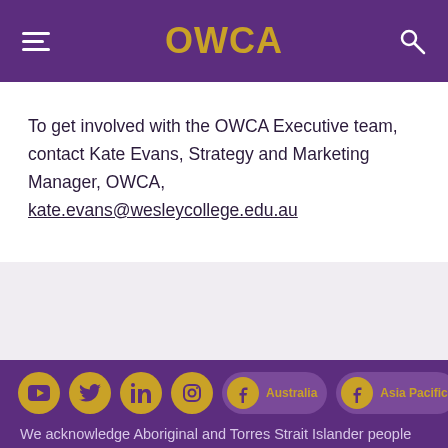OWCA
To get involved with the OWCA Executive team, contact Kate Evans, Strategy and Marketing Manager, OWCA, kate.evans@wesleycollege.edu.au
[Figure (infographic): Social media icons row: YouTube, Twitter, LinkedIn, Instagram, Facebook (Australia), Facebook (Asia Pacific) on purple footer background]
We acknowledge Aboriginal and Torres Strait Islander people